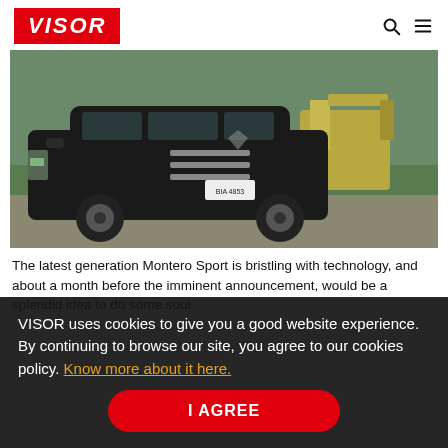VISOR
[Figure (photo): Black Mitsubishi Montero Sport SUV parked outdoors near grass and gravel with a yellow excavator in the background]
The latest generation Montero Sport is bristling with technology, and about a month before the imminent announcement, would be a splendid idea to do some soul
VISOR uses cookies to give you a good website experience. By continuing to browse our site, you agree to our cookies policy. Know more about it here.
I AGREE